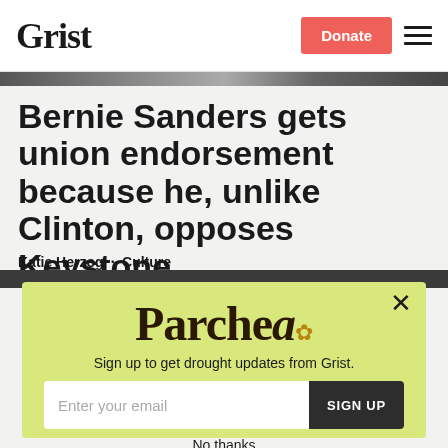Grist | Donate
Bernie Sanders gets union endorsement because he, unlike Clinton, opposes Keystone
Katie Herzog · Culture
[Figure (infographic): Parched newsletter signup modal overlay with yellow-green background, showing 'Parched' logo, subtitle 'Sign up to get drought updates from Grist.', email input field, SIGN UP button, and 'No thanks' link.]